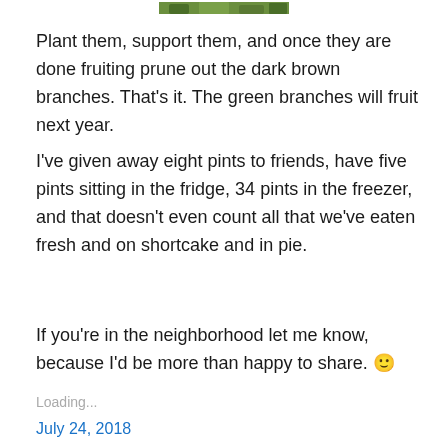[Figure (photo): Partial photo of green plant/foliage at top of page]
Plant them, support them, and once they are done fruiting prune out the dark brown branches. That's it. The green branches will fruit next year.
I've given away eight pints to friends, have five pints sitting in the fridge, 34 pints in the freezer, and that doesn't even count all that we've eaten fresh and on shortcake and in pie.
If you're in the neighborhood let me know, because I'd be more than happy to share. 🙂
Loading...
July 24, 2018